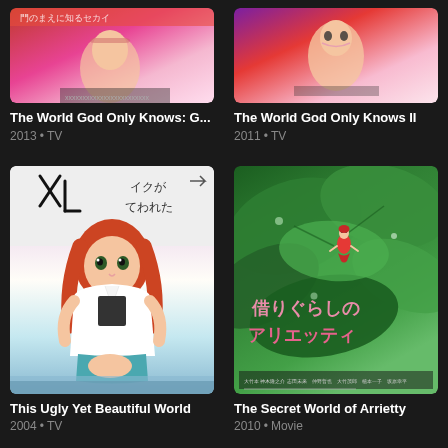[Figure (screenshot): Anime thumbnail for The World God Only Knows: G... showing Japanese anime art with characters]
The World God Only Knows: G...
2013 • TV
[Figure (screenshot): Anime thumbnail for The World God Only Knows II showing anime characters]
The World God Only Knows II
2011 • TV
[Figure (screenshot): Anime thumbnail for This Ugly Yet Beautiful World showing a red-haired anime girl in white shirt and teal shorts sitting]
This Ugly Yet Beautiful World
2004 • TV
[Figure (screenshot): Movie poster for The Secret World of Arrietty showing a small girl in red dress among giant green leaves, with Japanese text 借りぐらしのアリエッティ]
The Secret World of Arrietty
2010 • Movie